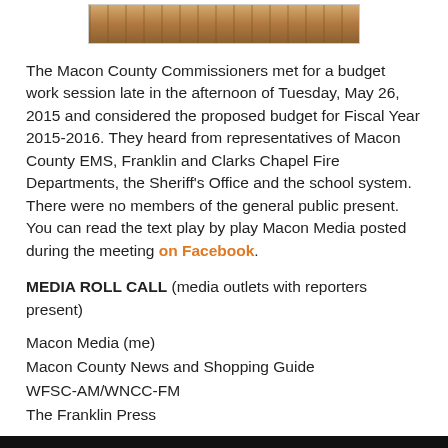[Figure (photo): Partial photo of a room interior, cropped at top showing wooden furniture/cabinetry]
The Macon County Commissioners met for a budget work session late in the afternoon of Tuesday, May 26, 2015 and considered the proposed budget for Fiscal Year 2015-2016. They heard from representatives of Macon County EMS, Franklin and Clarks Chapel Fire Departments, the Sheriff's Office and the school system. There were no members of the general public present. You can read the text play by play Macon Media posted during the meeting on Facebook.
MEDIA ROLL CALL (media outlets with reporters present)
Macon Media (me)
Macon County News and Shopping Guide
WFSC-AM/WNCC-FM
The Franklin Press
The video of the work session is embeded below.
[Figure (photo): Bottom portion of embedded video, black bar visible at bottom of page]